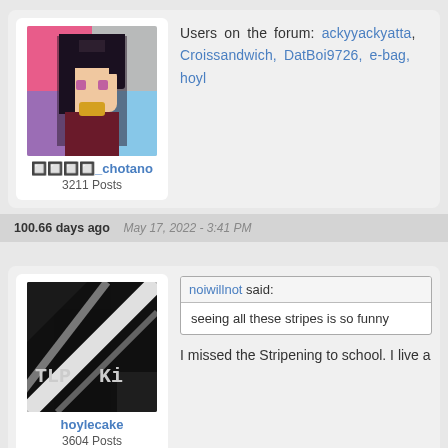Users on the forum: ackyyackyatta, Croissandwich, DatBoi9726, e-bag, hoyl...
[Figure (illustration): Pixel art anime character avatar with dark hair, pink and purple background]
🔲🔲🔲🔲_chotano
3211 Posts
100.66 days ago    May 17, 2022 - 3:41 PM
[Figure (illustration): Dark avatar with diagonal white stripes and text TLPKi]
hoylecake
3604 Posts
noiwillnot said:
seeing all these stripes is so funny
I missed the Stripening to school. I live a